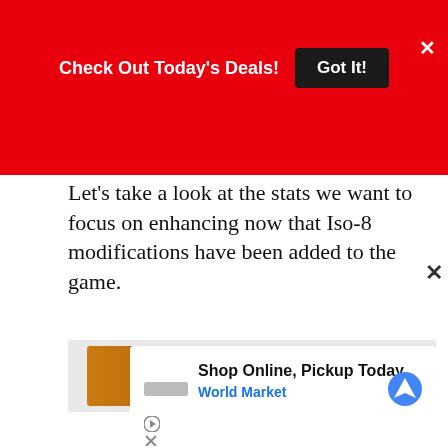Check Out Today's Deals! [Got It!]
Let's take a look at the stats we want to focus on enhancing now that Iso-8 modifications have been added to the game.
[Figure (illustration): Advertisement banner for Jurga Creations on Etsy, featuring colorful folk art painting of a face with honeycomb patterns and moths, with a 'Go To Etsy For More' button]
[Figure (illustration): Advertisement overlay for World Market 'Shop Online, Pickup Today' with logo, blue subtitle text, and navigation icon]